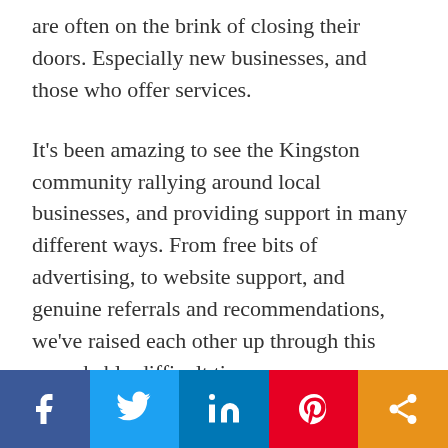are often on the brink of closing their doors. Especially new businesses, and those who offer services.
It's been amazing to see the Kingston community rallying around local businesses, and providing support in many different ways. From free bits of advertising, to website support, and genuine referrals and recommendations, we've raised each other up through this remarkably difficult time.
If you have a small business, there are lots of places to find ongoing business support.
[Figure (infographic): Social media sharing bar with five buttons: Facebook (dark blue), Twitter (light blue), LinkedIn (medium blue), Pinterest (red), Share/other (orange). Each has a white icon.]